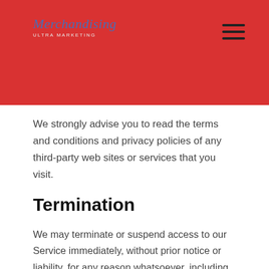Merchandising company logo and navigation
We strongly advise you to read the terms and conditions and privacy policies of any third-party web sites or services that you visit.
Termination
We may terminate or suspend access to our Service immediately, without prior notice or liability, for any reason whatsoever, including without limitation if you breach the Terms.
All provisions of the Terms which by their nature should survive termination shall survive termination, including, without limitation, ownership provisions, warranty disclaimers, indemnification and limitations of liability.